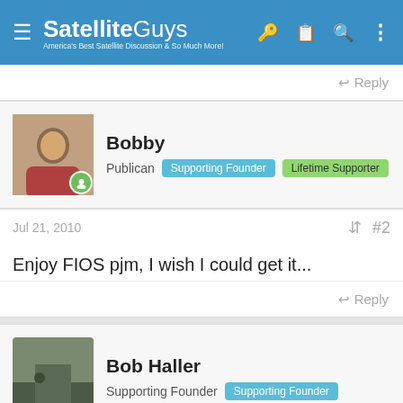SatelliteGuys - America's Best Satellite Discussion & So Much More!
Reply
Bobby
Publican | Supporting Founder | Lifetime Supporter
Jul 21, 2010  #2
Enjoy FIOS pjm, I wish I could get it...
Reply
Bob Haller
Supporting Founder | Supporting Founder
Jul 22, 2010  #3
good luck with fios locally its contract free these